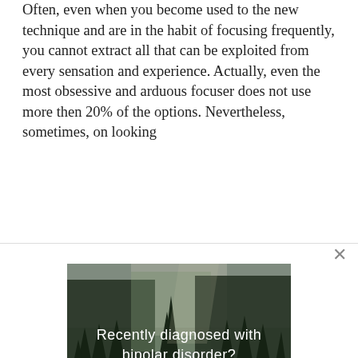Often, even when you become used to the new technique and are in the habit of focusing frequently, you cannot extract all that can be exploited from every sensation and experience. Actually, even the most obsessive and arduous focuser does not use more then 20% of the options. Nevertheless, sometimes, on looking
[Figure (photo): Advertisement banner showing a forest landscape with a river, overlaid with text: 'Recently diagnosed with bipolar disorder? DOWNLOAD OUR FREE EBOOK NOW.']
advertisement